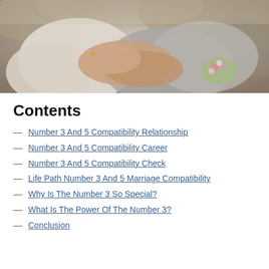[Figure (photo): A couple embracing outdoors, one person wearing a cream knit sweater and the other a grey knit sweater, hands clasped together, with a small bouquet of flowers visible. Autumn/outdoor setting.]
Contents
Number 3 And 5 Compatibility Relationship
Number 3 And 5 Compatibility Career
Number 3 And 5 Compatibility Check
Life Path Number 3 And 5 Marriage Compatibility
Why Is The Number 3 So Special?
What Is The Power Of The Number 3?
Conclusion